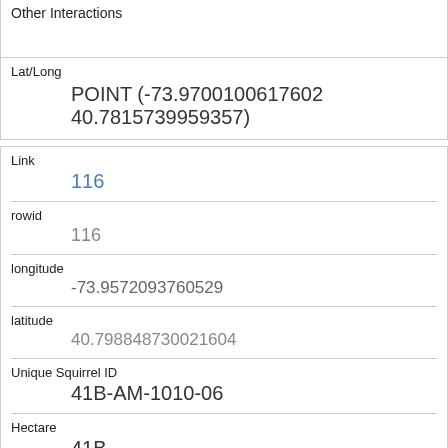Other Interactions
| Lat/Long | POINT (-73.9700100617602 40.7815739959357) |
| Link | 116 |
| rowid | 116 |
| longitude | -73.9572093760529 |
| latitude | 40.798848730021604 |
| Unique Squirrel ID | 41B-AM-1010-06 |
| Hectare | 41B |
| Shift | AM |
| Date | 10102018 |